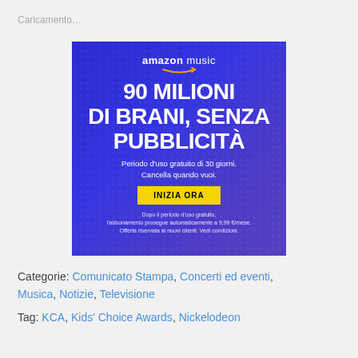Caricamento…
[Figure (advertisement): Amazon Music advertisement in Italian. Blue background with dot pattern. Shows 'amazon music' logo with arrow, large white bold text '90 MILIONI DI BRANI, SENZA PUBBLICITÀ', subtext 'Periodo d'uso gratuito di 30 giorni. Cancella quando vuoi.', yellow CTA button 'INIZIA ORA', and fine print about subscription terms.]
Categorie: Comunicato Stampa, Concerti ed eventi, Musica, Notizie, Televisione
Tag: KCA, Kids' Choice Awards, Nickelodeon